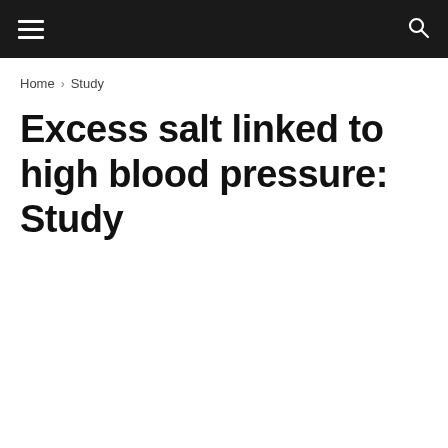≡ [menu] [search]
Home › Study
Excess salt linked to high blood pressure: Study